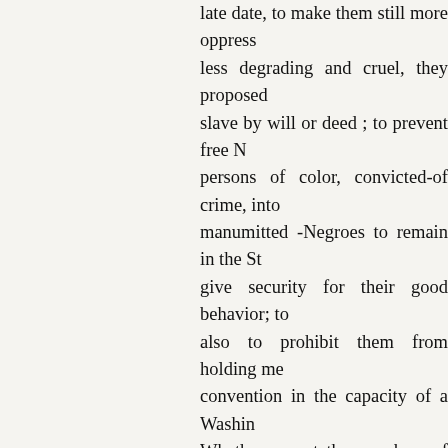late date, to make them still more oppress less degrading and cruel, they proposed slave by will or deed ; to prevent free N persons of color, convicted-of crime, into manumitted -Negroes to remain in the St give security for their good behavior; to also to prohibit them from holding me convention in the capacity of a Washing Whether or not the members of the con purposes of their meeting, it soon transp Abolitionist, and a question arose wheth floor or in the galleries. While this was d pervading Annapolis, and the mob was o out of town to be tarred and feathered, o him to jail,--a building he pronounced to for a prisoner." He was allowed, howeve expense. He was gratuitously defended b Palmer. Several of the Massachusetts del sympathy and good offices. After severa was no cause for detention, though he pu peace, his lawyers kindly becoming his